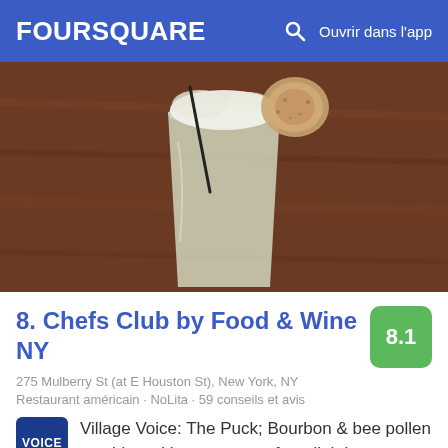FOURSQUARE  🔍  Ouvrir dans l'app
[Figure (photo): A cocktail drink in a glass with foam on top and a small round cracker/chip garnish on the rim, shot from above on a wooden table.]
8. Chefs Club by Food & Wine NY
275 Mulberry St (at E Houston St), New York, NY
Restaurant américain · NoLita · 59 conseils et avis
Village Voice: The Puck; Bourbon & bee pollen combine with pear nectar for a lightly sweet sipper that's a nice way to start or end a night. Black pepper finishes the drink, which adds effervescence.
En savoir plus